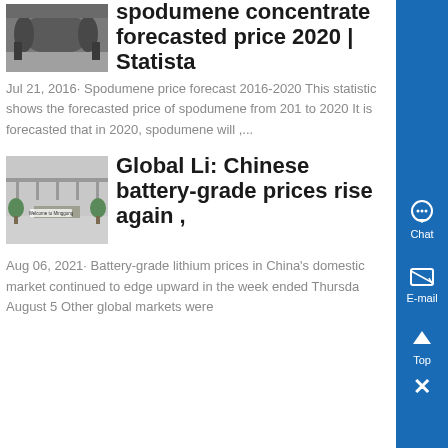[Figure (photo): Industrial machinery/mill equipment in a warehouse]
spodumene concentrate forecasted price 2020 | Statista
Jul 21, 2016· Spodumene price forecast 2016-2020 This statistic shows the forecasted price of spodumene from 201 to 2020 It is forecasted that in 2020, spodumene will ,...
[Figure (photo): Welcome to Minggong lobby/reception area]
Global Li: Chinese battery-grade prices rise again ,
Aug 06, 2021· Battery-grade lithium prices in China's domestic market continued to edge upward in the week ended Thursda August 5 Other global markets were